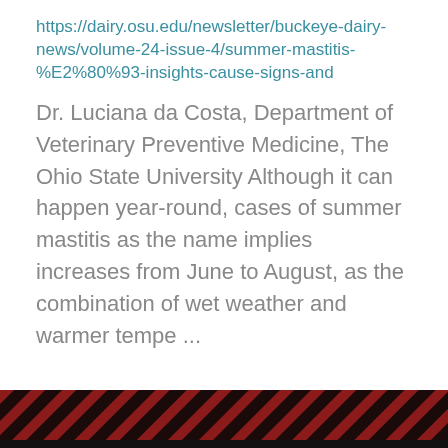https://dairy.osu.edu/newsletter/buckeye-dairy-news/volume-24-issue-4/summer-mastitis-%E2%80%93-insights-cause-signs-and
Dr. Luciana da Costa, Department of Veterinary Preventive Medicine, The Ohio State University Although it can happen year-round, cases of summer mastitis as the name implies increases from June to August, as the combination of wet weather and warmer tempe ...
1 2 3 4 5 6 7 8 9 …next › last »
[Figure (other): Diagonal red and dark stripe pattern footer bar]